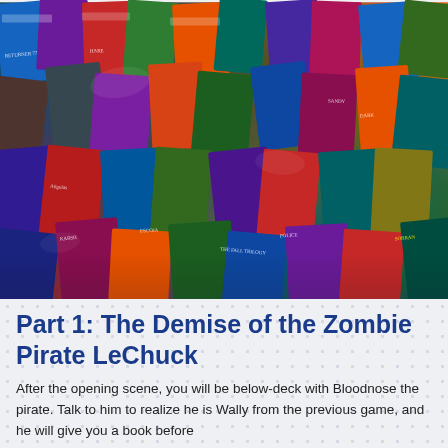[Figure (photo): A large collage of many colorful book covers piled on top of each other, filling the upper portion of the page. Various genres visible including sci-fi, fantasy, thriller, and more.]
Part 1: The Demise of the Zombie Pirate LeChuck
After the opening scene, you will be below-deck with Bloodnose the pirate. Talk to him to realize he is Wally from the previous game, and he will give you a book before